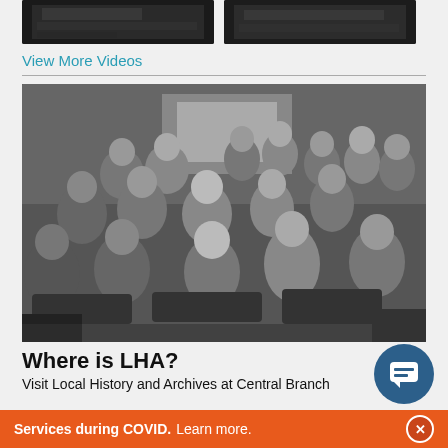[Figure (photo): Two small thumbnail video screenshots at top of page, dark/black content]
View More Videos
[Figure (photo): Black and white historical photograph of a group of children and teenagers seated and standing in what appears to be a library or classroom setting, smiling and socializing]
Where is LHA?
Visit Local History and Archives at Central Branch
Services during COVID. Learn more.